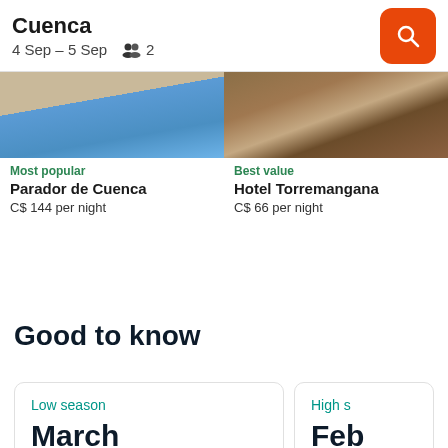Cuenca  4 Sep – 5 Sep  2
[Figure (photo): Pool image for Parador de Cuenca hotel card]
Most popular
Parador de Cuenca
CS$ 144 per night
[Figure (photo): Room interior image for Hotel Torremangana]
Best value
Hotel Torremangana
CS$ 66 per night
Good to know
Low season
March
High s
Feb